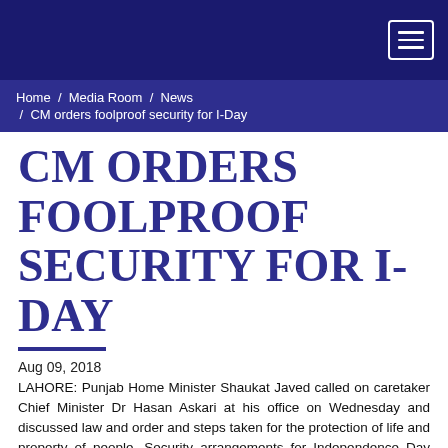Home / Media Room / News / CM orders foolproof security for I-Day
CM ORDERS FOOLPROOF SECURITY FOR I-DAY
Aug 09, 2018
LAHORE: Punjab Home Minister Shaukat Javed called on caretaker Chief Minister Dr Hasan Askari at his office on Wednesday and discussed law and order and steps taken for the protection of life and property of people. Security arrangements for Independence Day celebrations and smooth flow of traffic on August 14 also came under discussion.